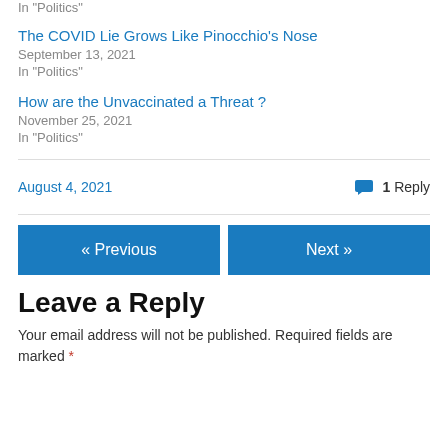In "Politics"
The COVID Lie Grows Like Pinocchio's Nose
September 13, 2021
In "Politics"
How are the Unvaccinated a Threat ?
November 25, 2021
In "Politics"
August 4, 2021      1 Reply
« Previous
Next »
Leave a Reply
Your email address will not be published. Required fields are marked *